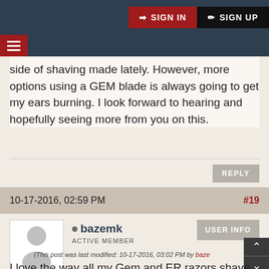SIGN IN  SIGN UP
side of shaving made lately. However, more options using a GEM blade is always going to get my ears burning. I look forward to hearing and hopefully seeing more from you on this.
REPLY
10-17-2016, 02:59 PM  #19
bazemk
ACTIVE MEMBER
USER INFO
(This post was last modified: 10-17-2016, 03:02 PM by baze
I love the way all my Gem and ER razors shave, but props have to be given to the Personna PTFE SS GEM blade, the